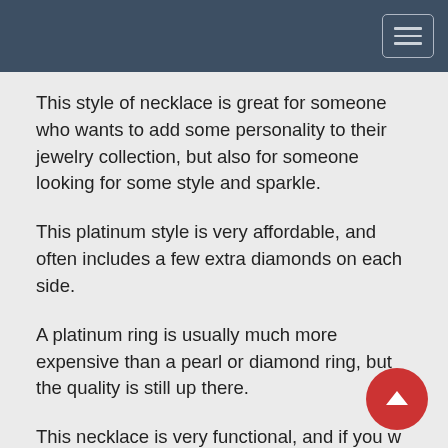Navigation bar with hamburger menu
This style of necklace is great for someone who wants to add some personality to their jewelry collection, but also for someone looking for some style and sparkle.
This platinum style is very affordable, and often includes a few extra diamonds on each side.
A platinum ring is usually much more expensive than a pearl or diamond ring, but the quality is still up there.
This necklace is very functional, and if you w classic look, it works just as well for women.
The diamonds on the outside of the platinum are